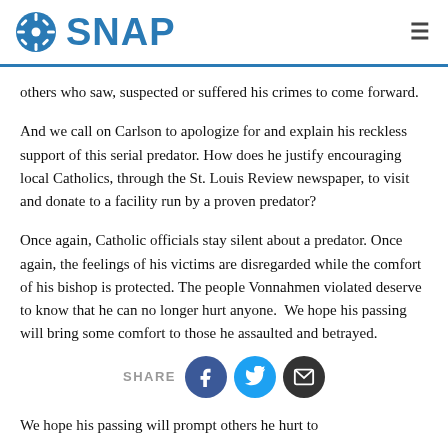SNAP
others who saw, suspected or suffered his crimes to come forward.
And we call on Carlson to apologize for and explain his reckless support of this serial predator. How does he justify encouraging local Catholics, through the St. Louis Review newspaper, to visit and donate to a facility run by a proven predator?
Once again, Catholic officials stay silent about a predator. Once again, the feelings of his victims are disregarded while the comfort of his bishop is protected. The people Vonnahmen violated deserve to know that he can no longer hurt anyone.  We hope his passing will bring some comfort to those he assaulted and betrayed.
We hope his passing will prompt others he hurt to